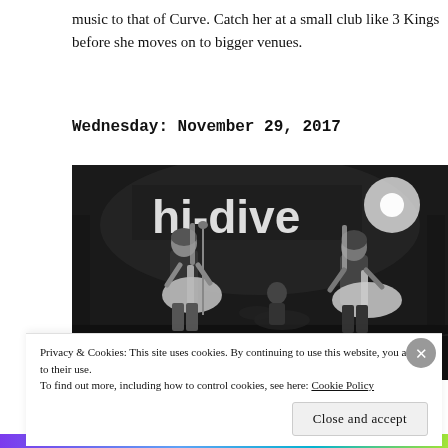music to that of Curve. Catch her at a small club like 3 Kings before she moves on to bigger venues.
Wednesday: November 29, 2017
[Figure (photo): Black and white concert photo at Hi-Dive venue showing two musicians playing electric guitars on stage, with a 'hi-dive' sign visible in the background.]
Privacy & Cookies: This site uses cookies. By continuing to use this website, you agree to their use.
To find out more, including how to control cookies, see here: Cookie Policy
Close and accept